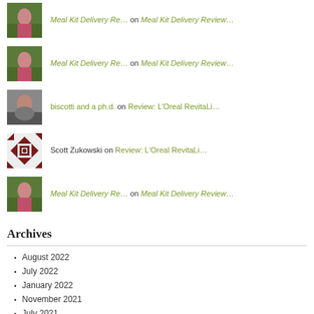Meal Kit Delivery Re… on Meal Kit Delivery Review…
Meal Kit Delivery Re… on Meal Kit Delivery Review…
biscotti and a ph.d. on Review: L'Oreal RevitaLi…
Scott Zukowski on Review: L'Oreal RevitaLi…
Meal Kit Delivery Re… on Meal Kit Delivery Review…
Archives
August 2022
July 2022
January 2022
November 2021
July 2021